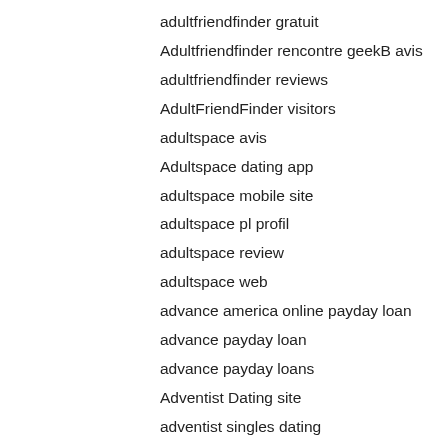adultfriendfinder gratuit
Adultfriendfinder rencontre geekB avis
adultfriendfinder reviews
AdultFriendFinder visitors
adultspace avis
Adultspace dating app
adultspace mobile site
adultspace pl profil
adultspace review
adultspace web
advance america online payday loan
advance payday loan
advance payday loans
Adventist Dating site
adventist singles dating
adventist singles de kosten
adventist singles espa?a
adventist singles Log in